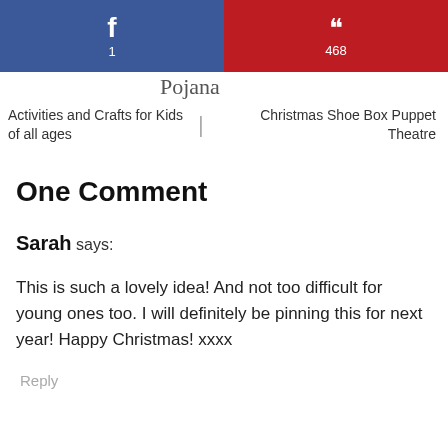[Figure (other): Social sharing buttons: Facebook button (blue, count 1) and Pinterest button (red, count 468)]
Activities and Crafts for Kids of all ages | Christmas Shoe Box Puppet Theatre
One Comment
Sarah says:
This is such a lovely idea! And not too difficult for young ones too. I will definitely be pinning this for next year! Happy Christmas! xxxx
Reply